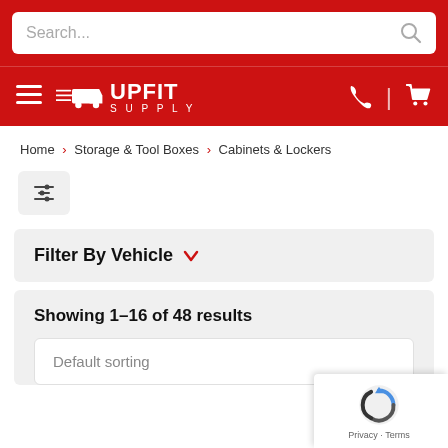[Figure (screenshot): Search bar with placeholder text 'Search...' and a search icon]
[Figure (logo): Upfit Supply logo with hamburger menu, truck icon, phone icon, and cart icon on red navigation bar]
Home › Storage & Tool Boxes › Cabinets & Lockers
[Figure (other): Filter/sliders icon button]
Filter By Vehicle ▾
Showing 1–16 of 48 results
Default sorting
[Figure (other): reCAPTCHA widget overlay showing logo and Privacy · Terms links]